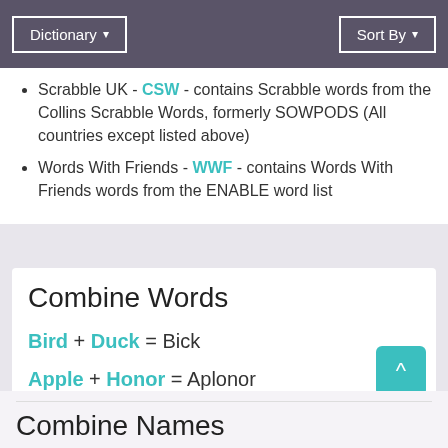Dictionary ▾    Sort By ▾
Scrabble UK - CSW - contains Scrabble words from the Collins Scrabble Words, formerly SOWPODS (All countries except listed above)
Words With Friends - WWF - contains Words With Friends words from the ENABLE word list
Combine Words
Bird + Duck = Bick
Apple + Honor = Aplonor
Hand + Locker = Handocker
Combine Names